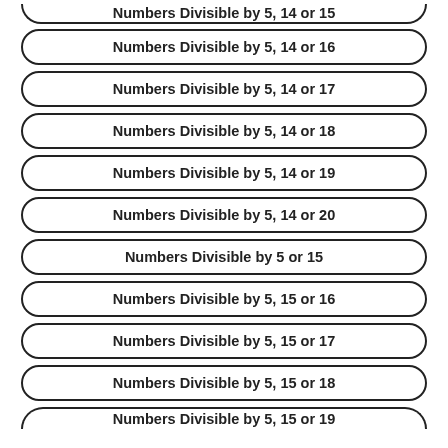Numbers Divisible by 5, 14 or 15
Numbers Divisible by 5, 14 or 16
Numbers Divisible by 5, 14 or 17
Numbers Divisible by 5, 14 or 18
Numbers Divisible by 5, 14 or 19
Numbers Divisible by 5, 14 or 20
Numbers Divisible by 5 or 15
Numbers Divisible by 5, 15 or 16
Numbers Divisible by 5, 15 or 17
Numbers Divisible by 5, 15 or 18
Numbers Divisible by 5, 15 or 19